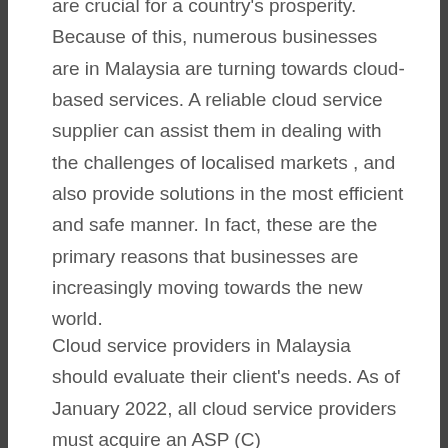are crucial for a country's prosperity. Because of this, numerous businesses are in Malaysia are turning towards cloud-based services. A reliable cloud service supplier can assist them in dealing with the challenges of localised markets , and also provide solutions in the most efficient and safe manner. In fact, these are the primary reasons that businesses are increasingly moving towards the new world.
Cloud service providers in Malaysia should evaluate their client's needs. As of January 2022, all cloud service providers must acquire an ASP (C)...